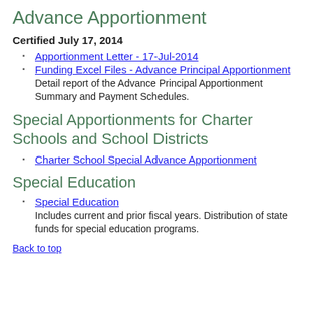Advance Apportionment
Certified July 17, 2014
Apportionment Letter - 17-Jul-2014
Funding Excel Files - Advance Principal Apportionment
Detail report of the Advance Principal Apportionment Summary and Payment Schedules.
Special Apportionments for Charter Schools and School Districts
Charter School Special Advance Apportionment
Special Education
Special Education
Includes current and prior fiscal years. Distribution of state funds for special education programs.
Back to top